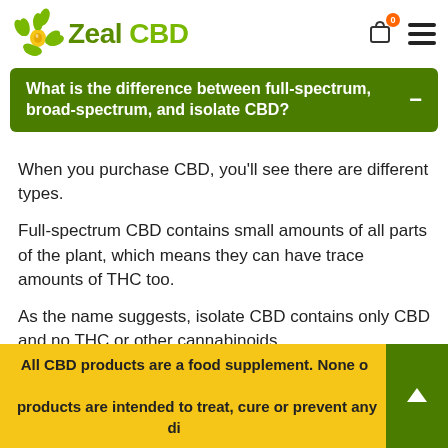Zeal CBD
What is the difference between full-spectrum, broad-spectrum, and isolate CBD?
When you purchase CBD, you'll see there are different types.
Full-spectrum CBD contains small amounts of all parts of the plant, which means they can have trace amounts of THC too.
As the name suggests, isolate CBD contains only CBD and no THC or other cannabinoids.
Broad-spectrum CBD sits in the middle; it does not contain THC, but it contains other parts of the plant.
All CBD products are a food supplement. None of the products are intended to treat, cure or prevent any disease.